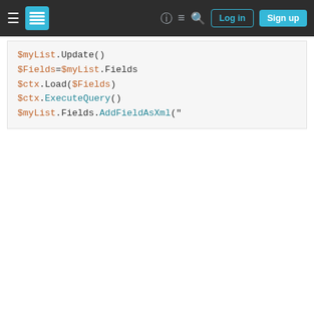Stack Exchange navigation bar with Log in and Sign up buttons
[Figure (screenshot): Code block showing PowerShell/SharePoint code with colored syntax: $myList.Update(), $Fields=$myList.Fields, $ctx.Load($Fields), $ctx.ExecuteQuery(), $myList.Fields.AddFieldAsXml("<Field Type='", $myList.Update(), $ctx.ExecuteQuery()]
just need to make it a unique field
list
powershell
client-object-model
unique
Your privacy
By clicking "Accept all cookies", you agree Stack Exchange can store cookies on your device and disclose information in accordance with our Cookie Policy.
Accept all cookies | Customize settings
2014 at 9:23